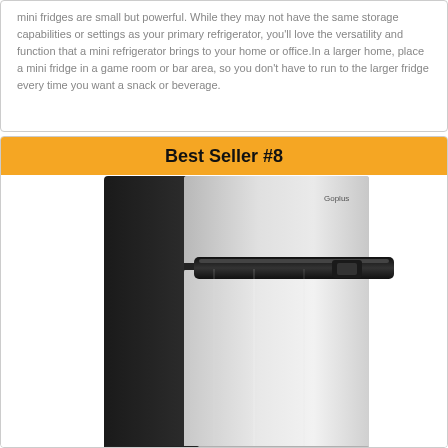mini fridges are small but powerful. While they may not have the same storage capabilities or settings as your primary refrigerator, you'll love the versatility and function that a mini refrigerator brings to your home or office.In a larger home, place a mini fridge in a game room or bar area, so you don't have to run to the larger fridge every time you want a snack or beverage.
Best Seller #8
[Figure (photo): A stainless steel mini refrigerator with a small top freezer compartment and a black handle, shown in product photo style against a white background.]